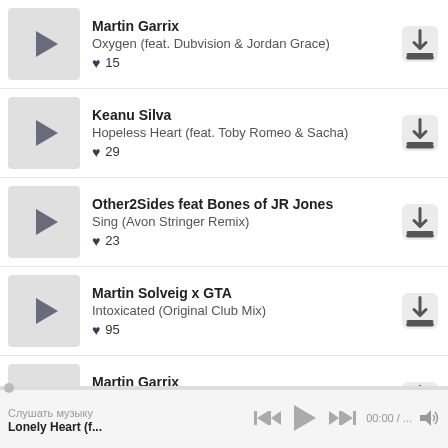Martin Garrix | Oxygen (feat. Dubvision & Jordan Grace) | ♥ 15
Keanu Silva | Hopeless Heart (feat. Toby Romeo & Sacha) | ♥ 29
Other2Sides feat Bones of JR Jones | Sing (Avon Stringer Remix) | ♥ 23
Martin Solveig x GTA | Intoxicated (Original Club Mix) | ♥ 95
Martin Garrix | Dont Look Down (feat. Usher) | ♥ 54
LTN, Ad Brown feat. Cat Martin
Слушать музыку | Lonely Heart (f... | 00:00 / ...